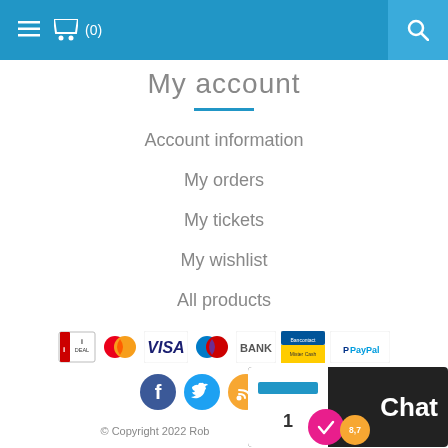≡  🛒 (0)   🔍
My account
Account information
My orders
My tickets
My wishlist
All products
[Figure (infographic): Payment method logos: iDEAL, MasterCard, VISA, Maestro, BANK, Bancontact/Mister Cash, PayPal]
[Figure (infographic): Social media icons: Facebook, Twitter, RSS feed]
[Figure (screenshot): Chat widget overlay with rating badge showing 8,7]
© Copyright 2022 Rob